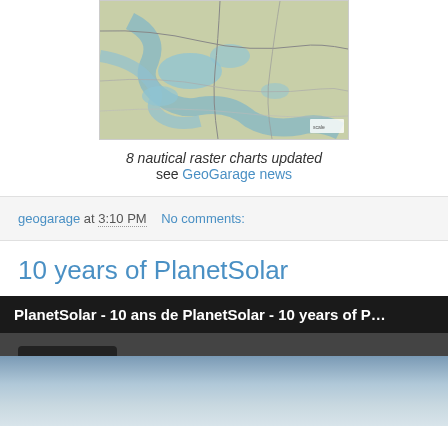[Figure (map): Nautical raster map showing waterways and land areas in blue-green tones]
8 nautical raster charts updated
see GeoGarage news
geogarage at 3:10 PM   No comments:
10 years of PlanetSolar
[Figure (screenshot): Video thumbnail showing PlanetSolar - 10 ans de PlanetSolar - 10 years of P... by HorusProd, with sky background]